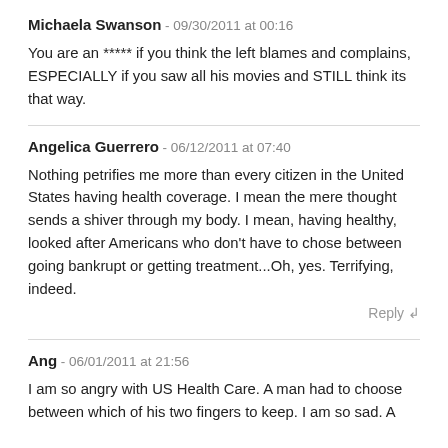Michaela Swanson - 09/30/2011 at 00:16
You are an ***** if you think the left blames and complains, ESPECIALLY if you saw all his movies and STILL think its that way.
Angelica Guerrero - 06/12/2011 at 07:40
Nothing petrifies me more than every citizen in the United States having health coverage. I mean the mere thought sends a shiver through my body. I mean, having healthy, looked after Americans who don't have to chose between going bankrupt or getting treatment...Oh, yes. Terrifying, indeed.
Reply ↲
Ang - 06/01/2011 at 21:56
I am so angry with US Health Care. A man had to choose between which of his two fingers to keep. I am so sad. A